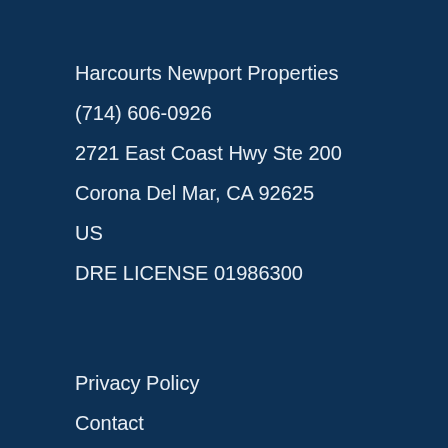Harcourts Newport Properties
(714) 606-0926
2721 East Coast Hwy Ste 200
Corona Del Mar, CA 92625
US
DRE LICENSE 01986300
Privacy Policy
Contact